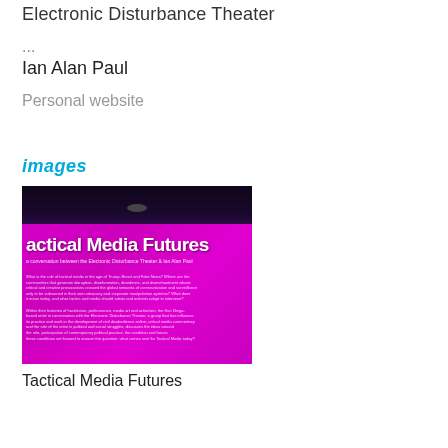Electronic Disturbance Theater
...
Ian Alan Paul
Personal website
images
[Figure (photo): A photograph showing text overlay on a bright magenta/pink poster reading 'Tactical Media Futures' with a conversation between the Electronic Disturbance Theater and Ian Alan Paul, with a person's silhouette visible in the dark upper portion of the image.]
Tactical Media Futures